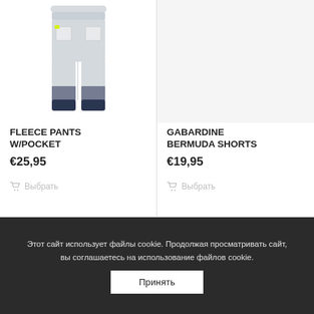[Figure (photo): Gray fleece pants with white patch pockets and navy blue cuffs, with a yellow tag visible]
[Figure (photo): Right product slot — no image visible (empty/cropped area)]
FLEECE PANTS W/POCKET
€25,95
GABARDINE BERMUDA SHORTS
€19,95
Выбрать
Выбрать
Этот сайт использует файлы cookie. Продолжая просматривать сайт, вы соглашаетесь на использование файлов cookie.
Принять
Brums
Milano